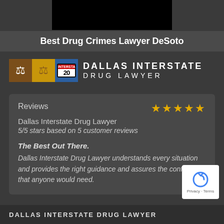[Figure (screenshot): Black video thumbnail at top center]
Best Drug Crimes Lawyer DeSoto
[Figure (logo): Dallas Interstate Drug Lawyer logo with gavel, scales of justice, interstate 20 sign, and text DALLAS INTERSTATE DRUG LAWYER]
Reviews
Dallas Interstate Drug Lawyer
5/5 stars based on 5 customer reviews

The Best Out There.
Dallas Interstate Drug Lawyer understands every situation and provides the right guidance and assures the confidence that anyone would need.
[Figure (other): Google reCAPTCHA badge with Privacy and Terms text]
DALLAS INTERSTATE DRUG LAWYER